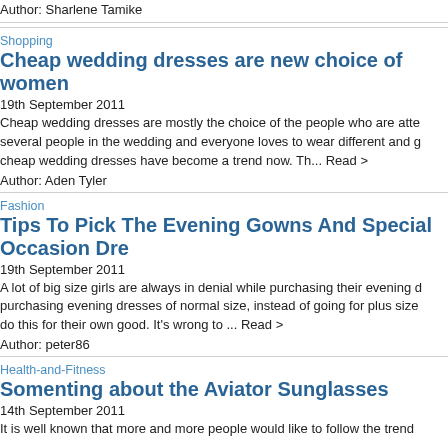Author: Sharlene Tamike
Shopping
Cheap wedding dresses are new choice of women
19th September 2011
Cheap wedding dresses are mostly the choice of the people who are atte several people in the wedding and everyone loves to wear different and g cheap wedding dresses have become a trend now. Th... Read >
Author: Aden Tyler
Fashion
Tips To Pick The Evening Gowns And Special Occasion Dre
19th September 2011
A lot of big size girls are always in denial while purchasing their evening d purchasing evening dresses of normal size, instead of going for plus size do this for their own good. It's wrong to ... Read >
Author: peter86
Health-and-Fitness
Somenting about the Aviator Sunglasses
14th September 2011
It is well known that more and more people would like to follow the trend